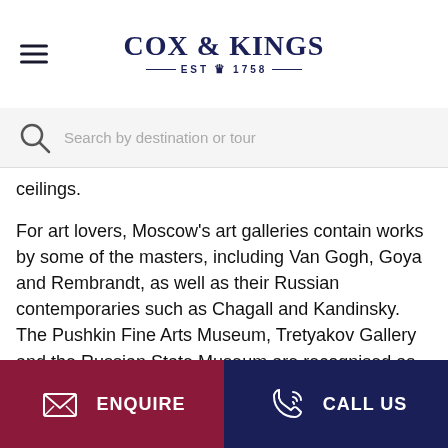[Figure (logo): Cox & Kings logo with EST 1758 tagline and crown emblem]
[Figure (screenshot): Search bar with magnifying glass icon and placeholder text 'Search by destination or tour']
ceilings.
For art lovers, Moscow's art galleries contain works by some of the masters, including Van Gogh, Goya and Rembrandt, as well as their Russian contemporaries such as Chagall and Kandinsky. The Pushkin Fine Arts Museum, Tretyakov Gallery and the Russian State Museum are recognised as some of the most important art galleries in Europe.
ENQUIRE   CALL US